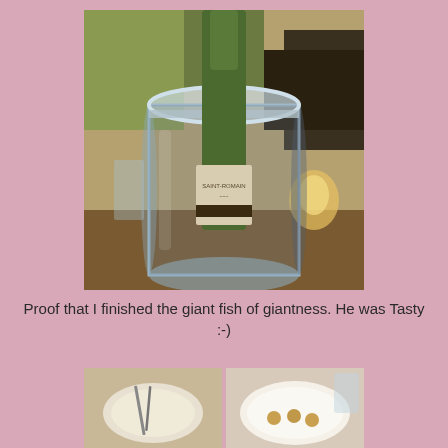[Figure (photo): A wine bottle in a clear acrylic/glass wine cooler/ice bucket on a restaurant table. The bottle appears to be a white wine labeled 'Saint-Romain'. A candle or small light is visible to the right side.]
Proof that I finished the giant fish of giantness. He was Tasty :-)
[Figure (photo): Two side-by-side photos of plates: left shows a nearly empty plate with cutlery, right shows a white plate with a few small round food items remaining.]